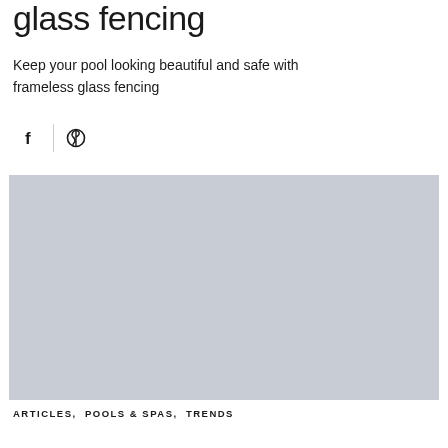glass fencing
Keep your pool looking beautiful and safe with frameless glass fencing
[Figure (other): Social share icons: Facebook (f) and Pinterest (P) with a vertical divider between them]
[Figure (photo): A large placeholder image block with light steel-blue/grey fill representing a pool with glass fencing photo]
ARTICLES,  POOLS & SPAS,  TRENDS